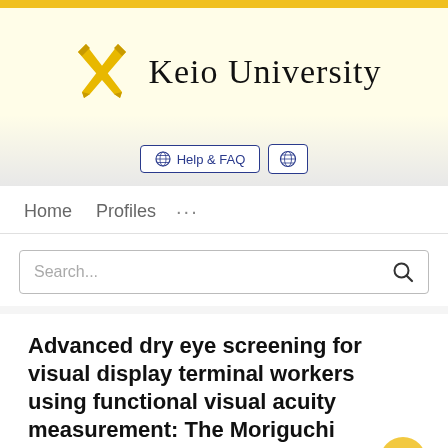[Figure (logo): Keio University logo with golden crossed pen/quill icon and text 'Keio University' in serif font]
Help & FAQ  [globe icon]
Home   Profiles   ...
Search...
Advanced dry eye screening for visual display terminal workers using functional visual acuity measurement: The Moriguchi study